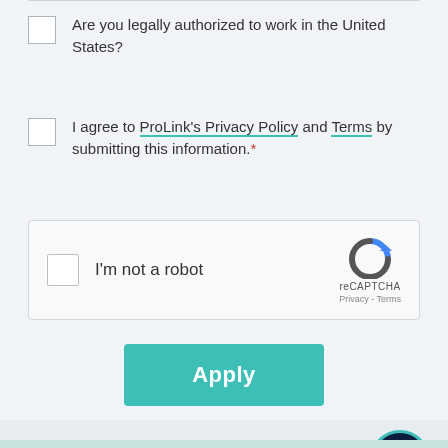Are you legally authorized to work in the United States?
I agree to ProLink's Privacy Policy and Terms by submitting this information.*
[Figure (screenshot): reCAPTCHA widget with checkbox labeled 'I'm not a robot' and reCAPTCHA logo with Privacy - Terms links]
Apply
[Figure (other): Dark navy circular chat button with ellipsis icon, teal border, in bottom right corner]